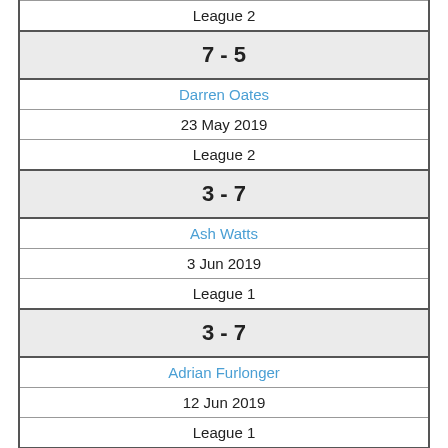| League 2 |
| 7 - 5 |
| Darren Oates |
| 23 May 2019 |
| League 2 |
| 3 - 7 |
| Ash Watts |
| 3 Jun 2019 |
| League 1 |
| 3 - 7 |
| Adrian Furlonger |
| 12 Jun 2019 |
| League 1 |
| 1 - 7 |
| Jason Neil-Dwyer |
| 17 Jun 2019 |
| League 1 |
| 7 - 3 |
| Abid Ali |